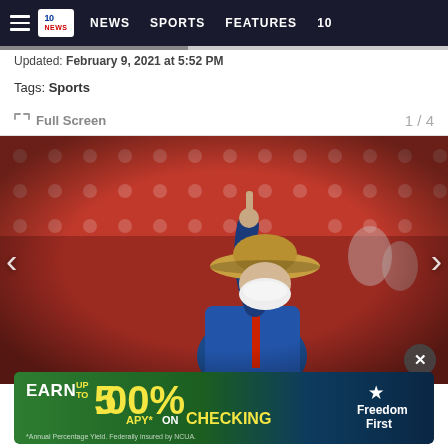≡  10NEWS  NEWS  SPORTS  FEATURES  10
Updated: February 9, 2021 at 5:52 PM
Tags: Sports
Full Screen  1 / 4
[Figure (photo): A person wearing a denim jacket, cowboy hat, and white face mask raises one finger at a sports venue with red stadium seats in the background. Navigation arrows visible on left and right sides.]
[Figure (infographic): Advertisement banner: EARN UP TO 5.00% APY* ON CHECKING - Freedom First. *Annual Percentage Yield. Federally insured by NCUA.]